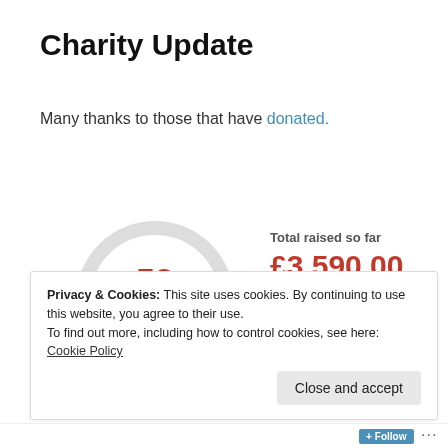Charity Update
Many thanks to those that have donated.
[Figure (donut-chart): 59% of target]
Total raised so far
£3,590.00
Total plus Gift Aid: £4,211.25
Privacy & Cookies: This site uses cookies. By continuing to use this website, you agree to their use.
To find out more, including how to control cookies, see here: Cookie Policy
Close and accept